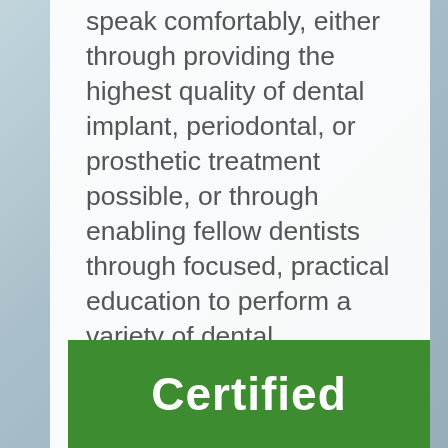speak comfortably, either through providing the highest quality of dental implant, periodontal, or prosthetic treatment possible, or through enabling fellow dentists through focused, practical education to perform a variety of dental procedures.
We have placed over 20,000+ dental implants in over 25+ years with great success!
Certified